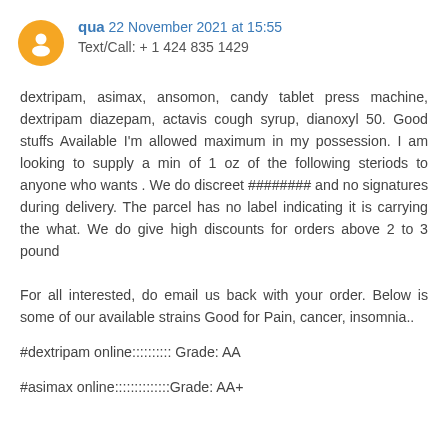qua 22 November 2021 at 15:55
Text/Call: + 1 424 835 1429
dextripam, asimax, ansomon, candy tablet press machine, dextripam diazepam, actavis cough syrup, dianoxyl 50. Good stuffs Available I'm allowed maximum in my possession. I am looking to supply a min of 1 oz of the following steriods to anyone who wants . We do discreet ######## and no signatures during delivery. The parcel has no label indicating it is carrying the what. We do give high discounts for orders above 2 to 3 pound
For all interested, do email us back with your order. Below is some of our available strains Good for Pain, cancer, insomnia..
#dextripam online:::::::::: Grade: AA
#asimax online::::::::::::::Grade: AA+